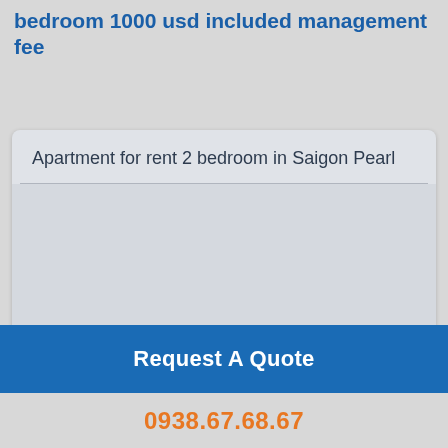bedroom 1000 usd included management fee
Apartment for rent 2 bedroom in Saigon Pearl
Request A Quote
0938.67.68.67